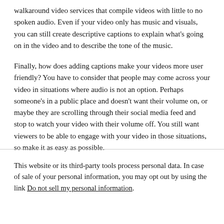walkaround video services that compile videos with little to no spoken audio. Even if your video only has music and visuals, you can still create descriptive captions to explain what's going on in the video and to describe the tone of the music.
Finally, how does adding captions make your videos more user friendly? You have to consider that people may come across your video in situations where audio is not an option. Perhaps someone's in a public place and doesn't want their volume on, or maybe they are scrolling through their social media feed and stop to watch your video with their volume off. You still want viewers to be able to engage with your video in those situations, so make it as easy as possible.
This website or its third-party tools process personal data. In case of sale of your personal information, you may opt out by using the link Do not sell my personal information.